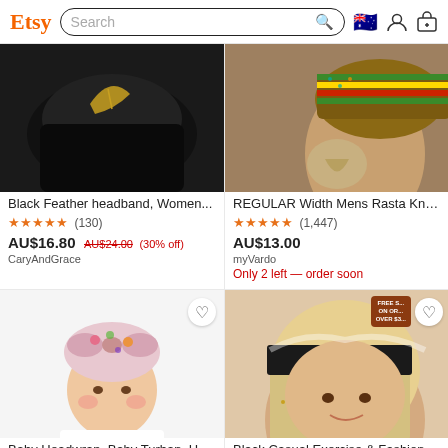Etsy — Search bar with Australian flag, user, and cart icons
[Figure (photo): Black feather headband product photo on dark background]
Black Feather headband, Women...
★★★★★ (130)
AU$16.80 AU$24.00 (30% off)
CaryAndGrace
[Figure (photo): Man wearing REGULAR Width Mens Rasta Knit headband]
REGULAR Width Mens Rasta Knit ...
★★★★★ (1,447)
AU$13.00
myVardo
Only 2 left — order soon
[Figure (photo): Baby wearing floral headwrap turban]
Baby Headwrap, Baby Turban, He...
★★★★★ (634)
[Figure (photo): Woman wearing black casual exercise fashion headband]
Black Casual Exercise & Fashion ...
★★★★★ (70)